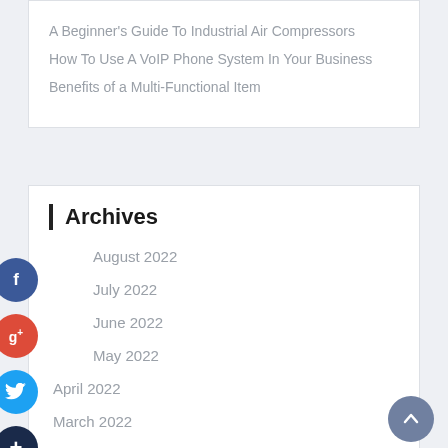A Beginner's Guide To Industrial Air Compressors
How To Use A VoIP Phone System In Your Business
Benefits of a Multi-Functional Item
Archives
August 2022
July 2022
June 2022
May 2022
April 2022
March 2022